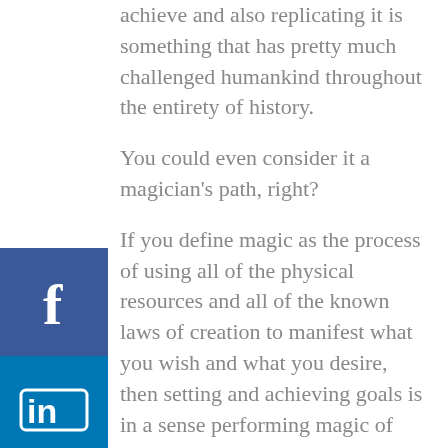achieve and also replicating it is something that has pretty much challenged humankind throughout the entirety of history.
You could even consider it a magician's path, right?
If you define magic as the process of using all of the physical resources and all of the known laws of creation to manifest what you wish and what you desire, then setting and achieving goals is in a sense performing magic of sorts.
[Figure (other): Social media share buttons sidebar on left: Facebook (blue), LinkedIn (blue), Instagram (gradient), Email (grey)]
Like all magic, there are a lot of elements that you need to take into consideration and balance in order to make your outcome more probable. It's all about making your outcome more probable.
For instance, balancing practicality with creativity; being practical and creative at the same time. Balancing being aspirational whilst being realistic;